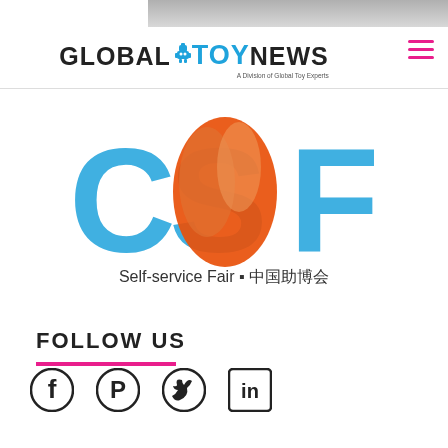[Figure (photo): Top strip image, partially visible, gray background]
[Figure (logo): Global Toy News logo with blue TOY text and robot figure, subtitle: A Division of Global Toy Experts]
[Figure (logo): CSF Self-service Fair / 中国助博会 logo with blue letters and orange flame design]
FOLLOW US
[Figure (infographic): Social media icons: Facebook, Pinterest, Twitter, LinkedIn]